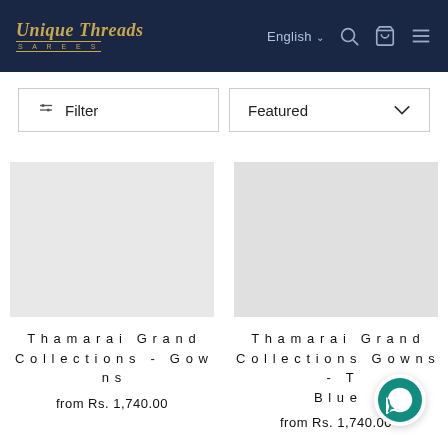Unique Threads Sarees — English | Filter | Featured
Thamarai Grand Collections - Gowns
from Rs. 1,740.00
Thamarai Grand Collections Gowns - T Blue
from Rs. 1,740.00